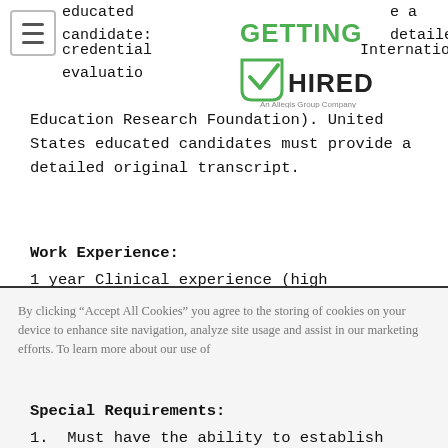[Figure (logo): Getting Hired logo - An Allegis Group Company]
educated candidates: provide a detailed credential evaluation (International Education Research Foundation). United States educated candidates must provide a detailed original transcript.
Work Experience:
1 year Clinical experience (high complexity testing) preferred. Minimum of 1 year of clinical laboratory experience in highly complex testing for those with BS/BA in Chemistry or Biology.
Special Requirements:
1. Must have the ability to establish work priorities
By clicking “Accept All Cookies” you agree to the storing of cookies on your device to enhance site navigation, analyze site usage and assist in our marketing efforts. To learn more about our use of